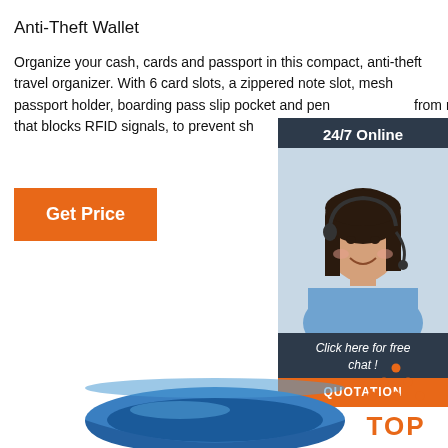Anti-Theft Wallet
Organize your cash, cards and passport in this compact, anti-theft travel organizer. With 6 card slots, a zippered note slot, mesh passport holder, boarding pass slip pocket and pen from material that blocks RFID signals, to prevent sh
Get Price
[Figure (photo): Customer service representative woman with headset smiling, with '24/7 Online' header, 'Click here for free chat!' text, and 'QUOTATION' orange button on dark navy background chat widget]
[Figure (photo): Blue silicone wristband/bracelet product shown from top angle]
[Figure (logo): TOP logo with orange dots arranged in triangle above orange text 'TOP']